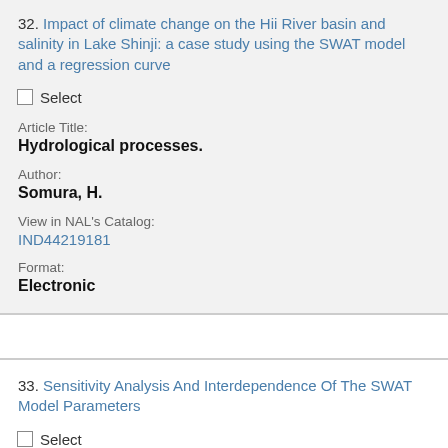32. Impact of climate change on the Hii River basin and salinity in Lake Shinji: a case study using the SWAT model and a regression curve
Select
Article Title:
Hydrological processes.
Author:
Somura, H.
View in NAL's Catalog:
IND44219181
Format:
Electronic
33. Sensitivity Analysis And Interdependence Of The SWAT Model Parameters
Select
Article Title: